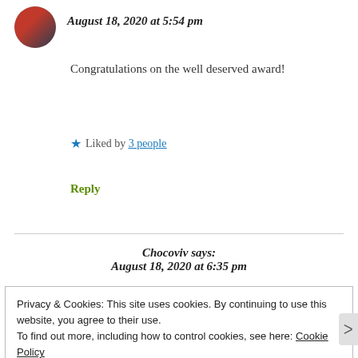August 18, 2020 at 5:54 pm
Congratulations on the well deserved award!
★ Liked by 3 people
Reply
Chocoviv says:
August 18, 2020 at 6:35 pm
Privacy & Cookies: This site uses cookies. By continuing to use this website, you agree to their use.
To find out more, including how to control cookies, see here: Cookie Policy
Close and accept